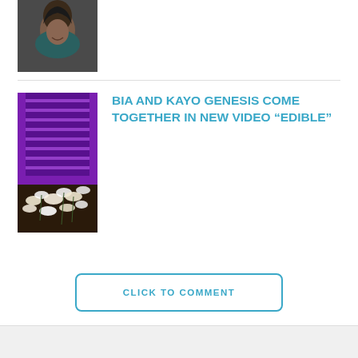[Figure (photo): Portrait photo of a smiling woman, partially visible at top of page]
[Figure (photo): Image showing a purple-lit window/blinds with white flowers (orchids) in the foreground, styled music video still]
BIA and KAYO GENESIS COME TOGETHER IN NEW VIDEO “EDIBLE”
CLICK TO COMMENT